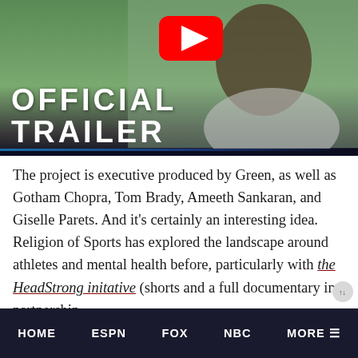[Figure (screenshot): YouTube video thumbnail showing a man with text 'OFFICIAL TRAILER' overlaid in white bold letters, with a red YouTube play button in the center top area. Background shows a man in a gray hoodie. A blue/dark bar runs along the bottom of the thumbnail.]
The project is executive produced by Green, as well as Gotham Chopra, Tom Brady, Ameeth Sankaran, and Giselle Parets. And it’s certainly an interesting idea. Religion of Sports has explored the landscape around athletes and mental health before, particularly with the HeadStrong initative (shorts and a full documentary in partnership
HOME    ESPN    FOX    NBC    MORE ☰